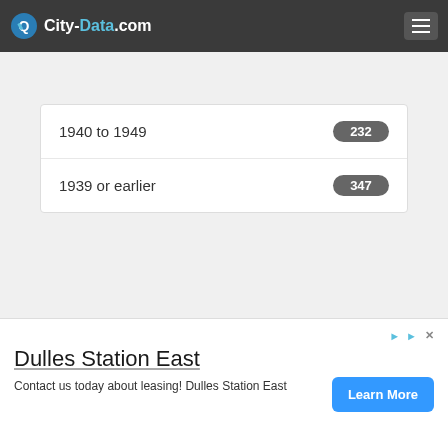City-Data.com
1940 to 1949  232
1939 or earlier  347
Owner-occupied | Renter-occupied
[Figure (screenshot): Advertisement for Dulles Station East with Learn More button]
Dulles Station East
Contact us today about leasing! Dulles Station East